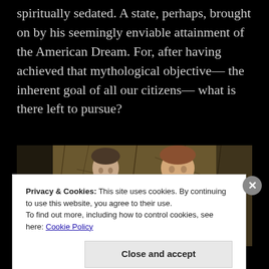spiritually sedated. A state, perhaps, brought on by his seemingly enviable attainment of the American Dream. For, after having achieved that mythological objective— the inherent goal of all our citizens— what is there left to pursue?
[Figure (photo): Two actors on stage facing each other in conversation, with a dark brown textured backdrop suggesting branches or a cracked wall behind them.]
Privacy & Cookies: This site uses cookies. By continuing to use this website, you agree to their use. To find out more, including how to control cookies, see here: Cookie Policy